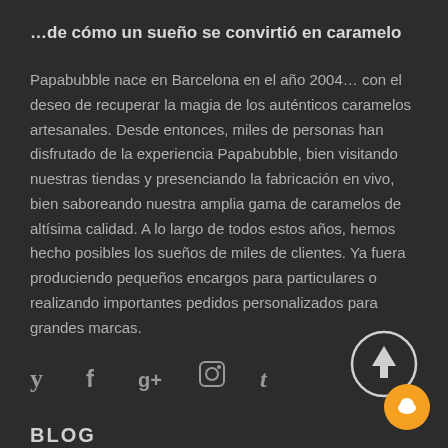…de cómo un sueño se convirtió en caramelo
Papabubble nace en Barcelona en el año 2004… con el deseo de recuperar la magia de los auténticos caramelos artesanales. Desde entonces, miles de personas han disfrutado de la experiencia Papabubble, bien visitando nuestras tiendas y presenciando la fabricación en vivo, bien saboreando nuestra amplia gama de caramelos de altísima calidad. A lo largo de todos estos años, hemos hecho posibles los sueños de miles de clientes. Ya fuera produciendo pequeños encargos para particulares o realizando importantes pedidos personalizados para grandes marcas.
[Figure (other): Social media icons row: Twitter (bird/y), Facebook (f), Google+ (g+), Instagram (camera), Tumblr (t)]
[Figure (other): Circular up-arrow scroll-to-top button, white circle with upward arrow]
[Figure (other): Orange chat bubble button]
BLOG